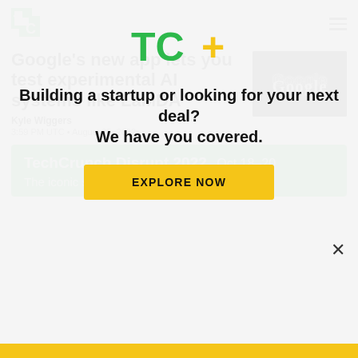TechCrunch logo and navigation
Google's new app lets you test experimental AI systems like LaMDA
Kyle Wiggers
3:59 PM UTC • August 25, 2022
[Figure (photo): Google logo in neon/glowing style on dark background]
[Figure (infographic): TechCrunch Disrupt 2022 green banner - Oct 18-20, The iconic startup conference]
[Figure (logo): TC+ logo in green and yellow]
Building a startup or looking for your next deal? We have you covered.
EXPLORE NOW